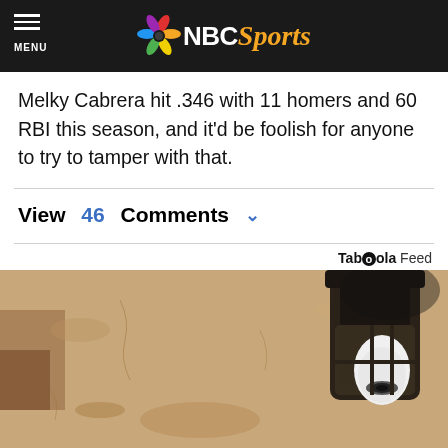MENU | NBC Sports
Melky Cabrera hit .346 with 11 homers and 60 RBI this season, and it'd be foolish for anyone to try to tamper with that.
View 46 Comments
Taboola Feed
[Figure (photo): Outdoor wall lantern light fixture mounted on a textured stucco wall, containing a white bulb security camera inside the lantern housing.]